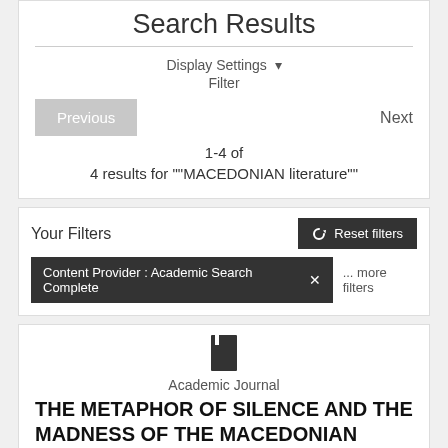Search Results
Display Settings ▾
Filter
Previous
Next
1-4 of
4 results for ""MACEDONIAN literature""
Your Filters
↺ Reset filters
Content Provider : Academic Search Complete ✕
... more filters
Academic Journal
THE METAPHOR OF SILENCE AND THE MADNESS OF THE MACEDONIAN